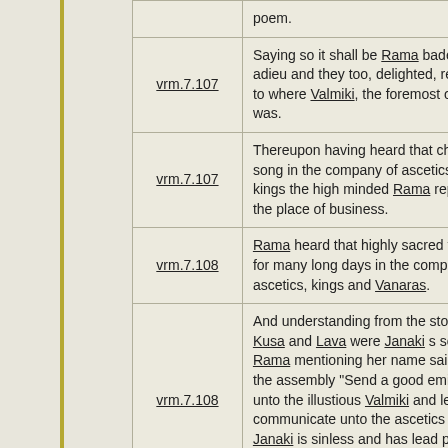| Reference | Content |
| --- | --- |
| vrm.7.107 | poem. |
| vrm.7.107 | Saying so it shall be Rama bade them adieu and they too, delighted, repaired to where Valmiki, the foremost of Munis was. |
| vrm.7.107 | Thereupon having heard that charming song in the company of ascetics and kings the high minded Rama repaired to the place of business. |
| vrm.7.108 | Rama heard that highly sacred theme for many long days in the company of ascetics, kings and Vanaras. |
| vrm.7.108 | And understanding from the story that Kusa and Lava were Janaki s sons, Rama mentioning her name said before the assembly "Send a good emissary unto the illustious Valmiki and let him communicate unto the ascetics that if Janaki is sinless and has lead pure life in the forest; let her give proof of purety by the great ascetic s permission. |
| vrm.7.108 | Hearing those wonderful words of Rama, the emissaries speedily went to Valmiki and saluting the high |